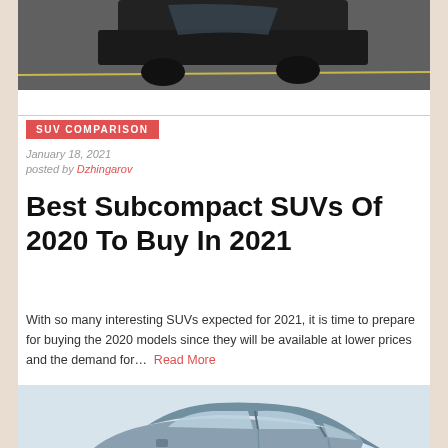[Figure (photo): Top portion of a car on a road, partial view showing the car from above on an asphalt surface]
SUV COMPARISON
January 18, 2021
posted by Dzhingarov
Best Subcompact SUVs Of 2020 To Buy In 2021
With so many interesting SUVs expected for 2021, it is time to prepare for buying the 2020 models since they will be available at lower prices and the demand for… Read More
[Figure (photo): Blue/grey subcompact SUV car shown from a front three-quarter angle, partially cropped at bottom of page]